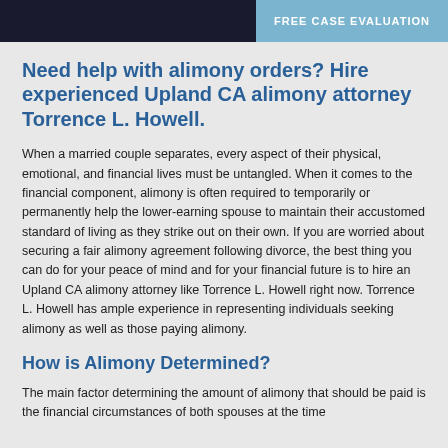FREE CASE EVALUATION
Need help with alimony orders? Hire experienced Upland CA alimony attorney Torrence L. Howell.
When a married couple separates, every aspect of their physical, emotional, and financial lives must be untangled. When it comes to the financial component, alimony is often required to temporarily or permanently help the lower-earning spouse to maintain their accustomed standard of living as they strike out on their own. If you are worried about securing a fair alimony agreement following divorce, the best thing you can do for your peace of mind and for your financial future is to hire an Upland CA alimony attorney like Torrence L. Howell right now. Torrence L. Howell has ample experience in representing individuals seeking alimony as well as those paying alimony.
How is Alimony Determined?
The main factor determining the amount of alimony that should be paid is the financial circumstances of both spouses at the time